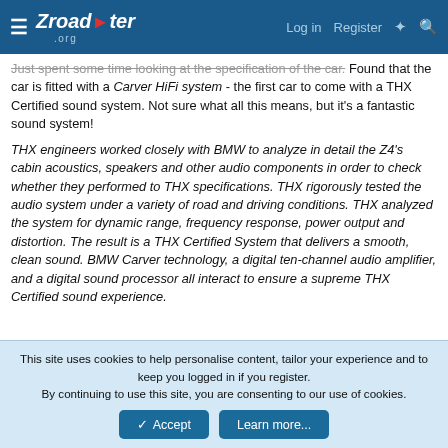Zroadster.org | Log in | Register
Just spent some time looking at the specification of the car. Found that the car is fitted with a Carver HiFi system - the first car to come with a THX Certified sound system. Not sure what all this means, but it's a fantastic sound system!
THX engineers worked closely with BMW to analyze in detail the Z4's cabin acoustics, speakers and other audio components in order to check whether they performed to THX specifications. THX rigorously tested the audio system under a variety of road and driving conditions. THX analyzed the system for dynamic range, frequency response, power output and distortion. The result is a THX Certified System that delivers a smooth, clean sound. BMW Carver technology, a digital ten-channel audio amplifier, and a digital sound processor all interact to ensure a supreme THX Certified sound experience.
This site uses cookies to help personalise content, tailor your experience and to keep you logged in if you register.
By continuing to use this site, you are consenting to our use of cookies.